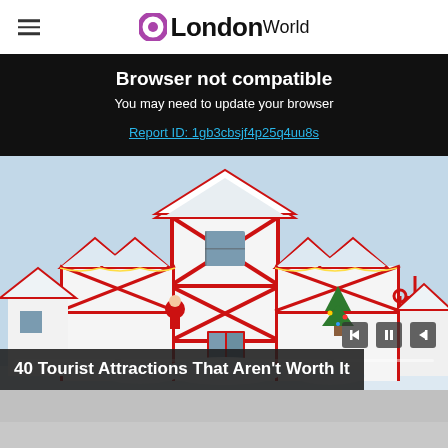LondonWorld
Browser not compatible
You may need to update your browser
Report ID: 1gb3cbsjf4p25q4uu8s
[Figure (photo): A large building decorated with Christmas/holiday decorations including Santa Claus, elves, Christmas trees, candy canes, and red and white Tudor-style architecture covered in snow.]
40 Tourist Attractions That Aren't Worth It